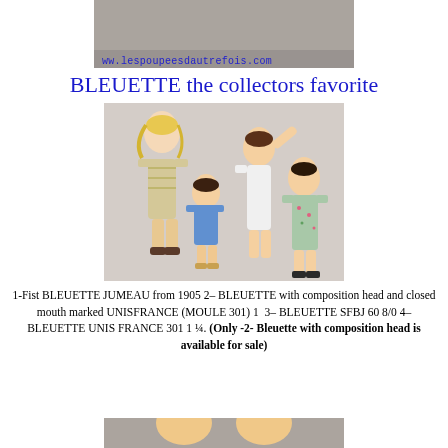[Figure (photo): Partial top photo of dolls with website watermark ww.lespoupeesdautrefois.com]
BLEUETTE the collectors favorite
[Figure (photo): Four Bleuette dolls posed together: a bisque-head doll in striped dress, a composition-head doll in blue dress, a doll in white undergarment, and a doll in floral dress]
1-Fist BLEUETTE JUMEAU from 1905 2– BLEUETTE with composition head and closed mouth marked UNISFRANCE (MOULE 301) 1  3– BLEUETTE SFBJ 60 8/0 4– BLEUETTE UNIS FRANCE 301 1 ¼. (Only -2- Bleuette with composition head is available for sale)
[Figure (photo): Bottom partial photo of dolls, cropped at page edge]